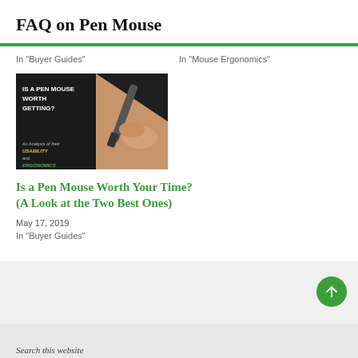FAQ on Pen Mouse
In "Buyer Guides"
In "Mouse Ergonomics"
[Figure (photo): Article thumbnail image: dark background with text 'IS A PEN MOUSE WORTH GETTING?' and a hand holding a pen mouse, with subtitle text about usability and ergonomics]
Is a Pen Mouse Worth Your Time? (A Look at the Two Best Ones)
May 17, 2019
In "Buyer Guides"
Search this website